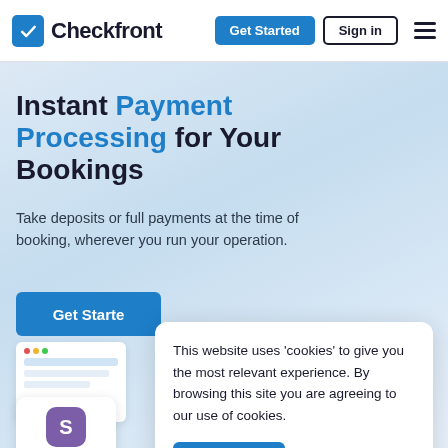Checkfront | Get Started | Sign in
Instant Payment Processing for Your Bookings
Take deposits or full payments at the time of booking, wherever you run your operation.
[Figure (screenshot): Get Started button (blue), browser mockup UI, and Stripe integration card showing purple S icon with text 'Stripe - Sync booking and transac... details for easy bookkeeping.']
This website uses 'cookies' to give you the most relevant experience. By browsing this site you are agreeing to our use of cookies.
Okay, got it!  Cookie Policy